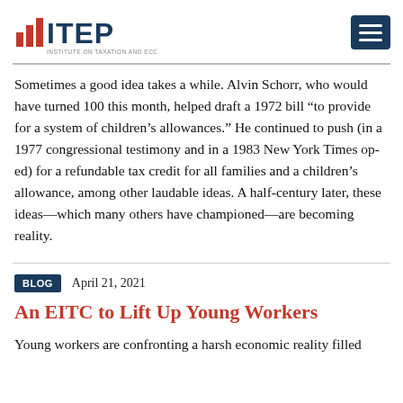[Figure (logo): ITEP (Institute on Taxation and Economic Policy) logo with bar chart icon in red and navy text]
Sometimes a good idea takes a while. Alvin Schorr, who would have turned 100 this month, helped draft a 1972 bill “to provide for a system of children’s allowances.” He continued to push (in a 1977 congressional testimony and in a 1983 New York Times op-ed) for a refundable tax credit for all families and a children’s allowance, among other laudable ideas. A half-century later, these ideas—which many others have championed—are becoming reality.
BLOG
April 21, 2021
An EITC to Lift Up Young Workers
Young workers are confronting a harsh economic reality filled